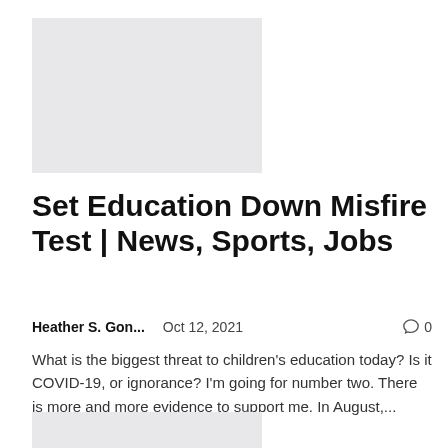[Figure (photo): Gray placeholder image rectangle at top left]
Set Education Down Misfire Test | News, Sports, Jobs
Heather S. Gon...    Oct 12, 2021    0
What is the biggest threat to children's education today? Is it COVID-19, or ignorance? I'm going for number two. There is more and more evidence to support me. In August,...
[Figure (photo): Gray placeholder image rectangle at bottom left, partially visible]